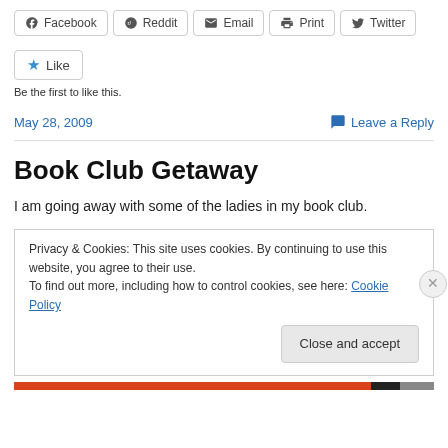[Figure (infographic): Row of social share buttons: Facebook, Reddit, Email, Print, Twitter]
[Figure (infographic): Like button with star icon]
Be the first to like this.
May 28, 2009
Leave a Reply
Book Club Getaway
I am going away with some of the ladies in my book club.
Privacy & Cookies: This site uses cookies. By continuing to use this website, you agree to their use.
To find out more, including how to control cookies, see here: Cookie Policy